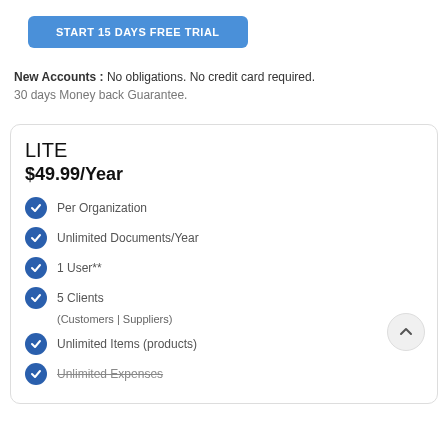[Figure (other): Blue button labeled START 15 DAYS FREE TRIAL]
New Accounts : No obligations. No credit card required.
30 days Money back Guarantee.
LITE
$49.99/Year
Per Organization
Unlimited Documents/Year
1 User**
5 Clients
(Customers | Suppliers)
Unlimited Items (products)
Unlimited Expenses